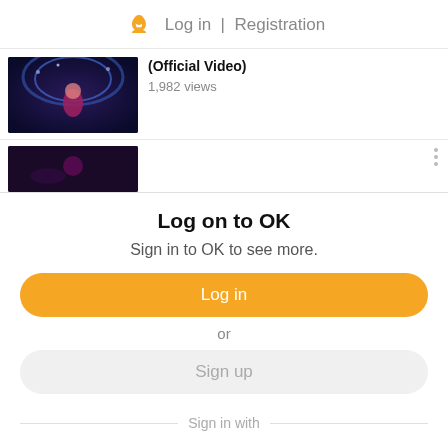Log in | Registration
[Figure (screenshot): Partial video thumbnail showing a performer with blue feather costume on stage]
(Official Video)
1,982 views
[Figure (screenshot): Second video thumbnail partially visible]
Log on to OK
Sign in to OK to see more.
Log in
or
Sign up
Sign in with
[Figure (logo): Social login icons: VK, Mail, Google, Yandex, Apple]